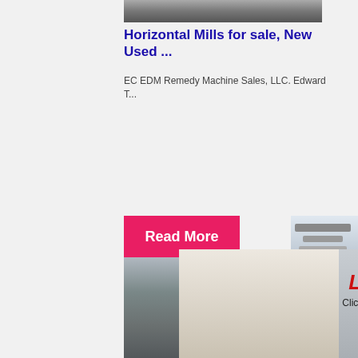[Figure (photo): Partial view of industrial machinery at top]
Horizontal Mills for sale, New Used ...
EC EDM Remedy Machine Sales, LLC. Edward T...
[Figure (photo): Read More pink button overlay with mining crusher image below]
[Figure (screenshot): Live chat popup with workers in hard hats, LIVE CHAT heading, Click for a Free Consultation text, Chat now and Chat later buttons]
[Figure (photo): Right orange sidebar with machinery images, Enjoy 3% discount, Click to Chat, Enquiry, limingjlmofen@sina.com]
etc. Pfeiffer MPS mills
The MPS mill also grinds, dries, calcines, and cla...